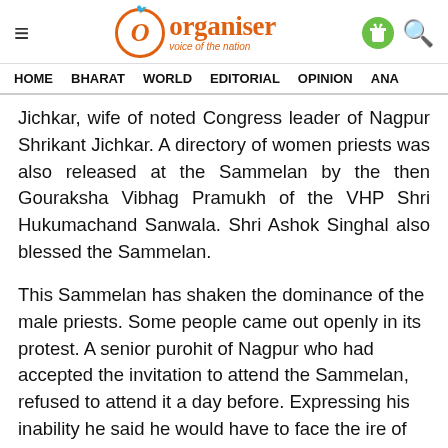Organiser — voice of the nation
HOME   BHARAT   WORLD   EDITORIAL   OPINION   ANA
Jichkar, wife of noted Congress leader of Nagpur Shrikant Jichkar. A directory of women priests was also released at the Sammelan by the then Gouraksha Vibhag Pramukh of the VHP Shri Hukumachand Sanwala. Shri Ashok Singhal also blessed the Sammelan.
This Sammelan has shaken the dominance of the male priests. Some people came out openly in its protest. A senior purohit of Nagpur who had accepted the invitation to attend the Sammelan, refused to attend it a day before. Expressing his inability he said he would have to face the ire of other priests if he attended the Sammelan. But